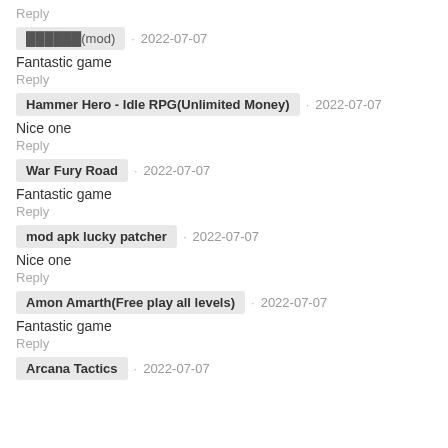Reply
██████(mod)  ·  2022-07-07
Fantastic game
Reply
Hammer Hero - Idle RPG(Unlimited Money)  ·  2022-07-07
Nice one
Reply
War Fury Road  ·  2022-07-07
Fantastic game
Reply
mod apk lucky patcher  ·  2022-07-07
Nice one
Reply
Amon Amarth(Free play all levels)  ·  2022-07-07
Fantastic game
Reply
Arcana Tactics  ·  2022-07-07